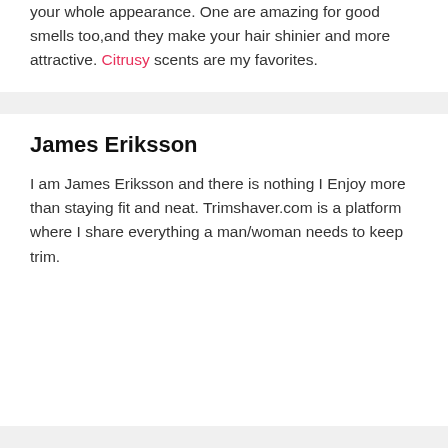your whole appearance. One are amazing for good smells too,and they make your hair shinier and more attractive. Citrusy scents are my favorites.
James Eriksson
I am James Eriksson and there is nothing I Enjoy more than staying fit and neat. Trimshaver.com is a platform where I share everything a man/woman needs to keep trim.